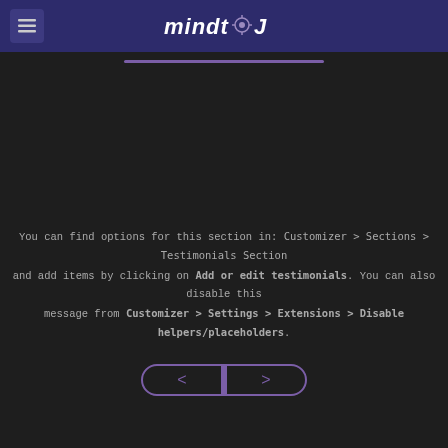mindtool - header navigation
You can find options for this section in: Customizer > Sections > Testimonials Section and add items by clicking on Add or edit testimonials. You can also disable this message from Customizer > Settings > Extensions > Disable helpers/placeholders.
[Figure (other): Navigation previous and next buttons with purple border]